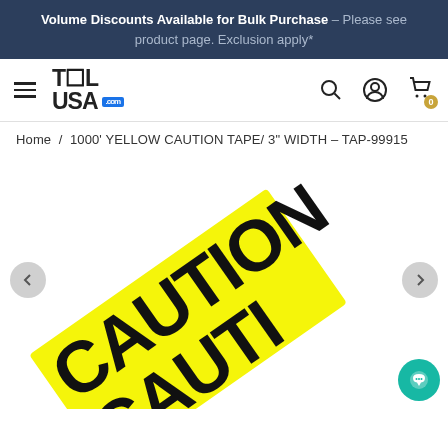Volume Discounts Available for Bulk Purchase – Please see product page. Exclusion apply*
[Figure (screenshot): Tool USA .com website navigation bar with hamburger menu, ToolUSA.com logo, search icon, account icon, and shopping cart icon]
Home / 1000' YELLOW CAUTION TAPE/ 3" WIDTH – TAP-99915
[Figure (photo): Yellow caution tape with black CAUTION text printed on it, shown at a diagonal angle on a white background]